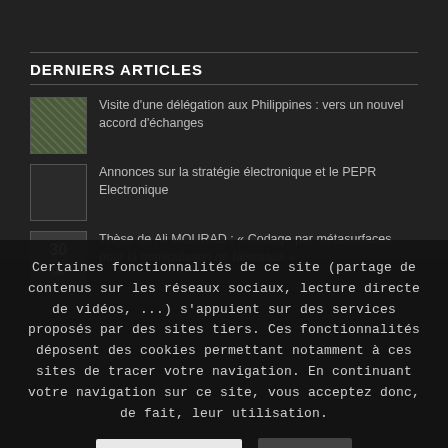DERNIERS ARTICLES
Visite d'une délégation aux Philippines : vers un nouvel accord d'échanges
Annonces sur la stratégie électronique et le PEPR Electronique
Thèse de Ali MOURAD : « Codage par métasurfaces pour la manipulation de faisceaux »
Certaines fonctionnalités de ce site (partage de contenus sur les réseaux sociaux, lecture directe de vidéos, ...) s'appuient sur des services proposés par des sites tiers. Ces fonctionnalités déposent des cookies permettant notamment à ces sites de tracer votre navigation. En continuant votre navigation sur ce site, vous acceptez donc, de fait, leur utilisation.
English (UK)
OK